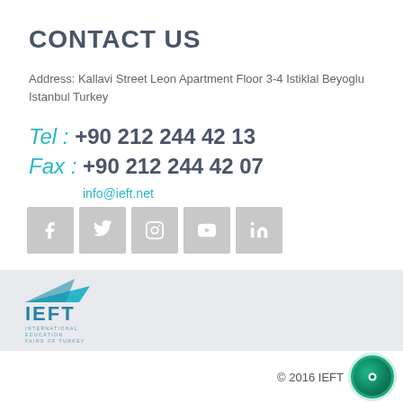CONTACT US
Address: Kallavi Street Leon Apartment Floor 3-4 Istiklal Beyoglu Istanbul Turkey
Tel : +90 212 244 42 13
Fax : +90 212 244 42 07
info@ieft.net
[Figure (infographic): Social media icons row: Facebook, Twitter, Instagram, YouTube, LinkedIn — grey square buttons with white icons]
[Figure (logo): IEFT International Education Fairs of Turkey logo with blue arrow/triangle and bold IEFT letters in blue]
© 2016 IEFT